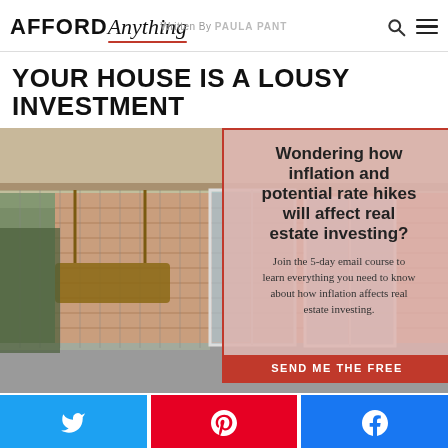AFFORD Anything — Written By PAULA PANT
YOUR HOUSE IS A LOUSY INVESTMENT
[Figure (photo): Exterior photo of a pink/salmon-colored house with a covered porch/patio area, showing a porch swing, sliding glass doors, and white-trimmed French doors. Concrete floor on porch. Trees visible in background.]
Wondering how inflation and potential rate hikes will affect real estate investing? Join the 5-day email course to learn everything you need to know about how inflation affects real estate investing. SEND ME THE FREE COURSE
[Figure (other): Twitter share button (blue)]
[Figure (other): Pinterest share button (red)]
[Figure (other): Facebook share button (blue)]